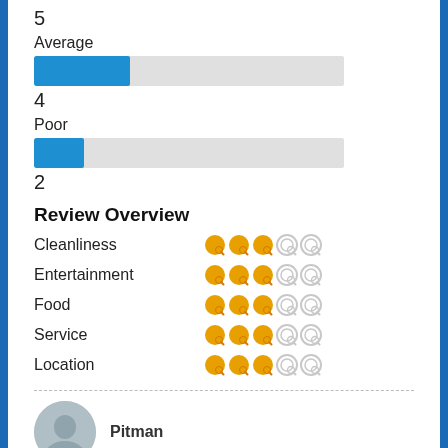5
Average
[Figure (bar-chart): Average bar]
4
Poor
[Figure (bar-chart): Poor bar]
2
Review Overview
Cleanliness — 3/5 stars
Entertainment — 3/5 stars
Food — 3/5 stars
Service — 3/5 stars
Location — 3/5 stars
Pitman